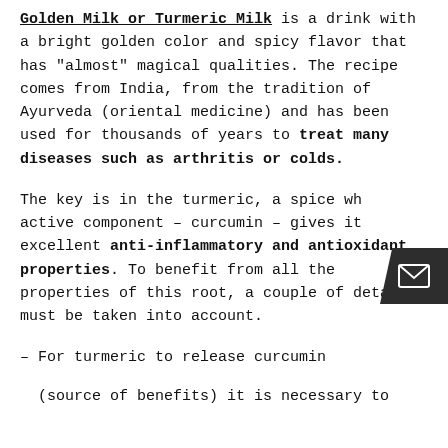Golden Milk or Turmeric Milk is a drink with a bright golden color and spicy flavor that has "almost" magical qualities. The recipe comes from India, from the tradition of Ayurveda (oriental medicine) and has been used for thousands of years to treat many diseases such as arthritis or colds.
The key is in the turmeric, a spice whose active component – curcumin – gives it excellent anti-inflammatory and antioxidant properties. To benefit from all the properties of this root, a couple of details must be taken into account.
– For turmeric to release curcumin (source of benefits) it is necessary to